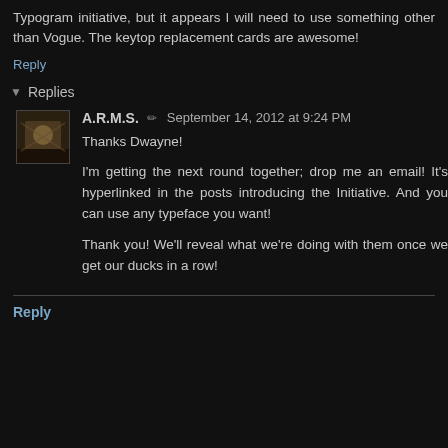Typogram initiative, but it appears I will need to use something other than Vogue. The keytop replacement cards are awesome!
Reply
Replies
A.R.M.S.  September 14, 2012 at 9:24 PM
Thanks Dwayne!
I'm getting the next round together; drop me an email! It's hyperlinked in the posts introducing the Initiative. And you can use any typeface you want!
Thank you! We'll reveal what we're doing with them once we get our ducks in a row!
Reply